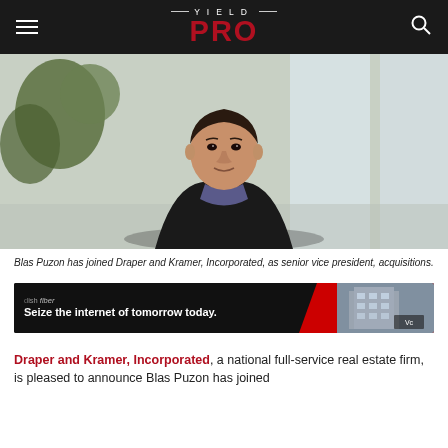YIELD PRO
[Figure (photo): Professional headshot of Blas Puzon, a man in a black blazer and blue shirt, seated in a modern office environment with plants and windows in the background.]
Blas Puzon has joined Draper and Kramer, Incorporated, as senior vice president, acquisitions.
[Figure (photo): Advertisement banner for dish fiber: 'Seize the internet of tomorrow today.' with a building image and logo on the right.]
Draper and Kramer, Incorporated, a national full-service real estate firm, is pleased to announce Blas Puzon has joined